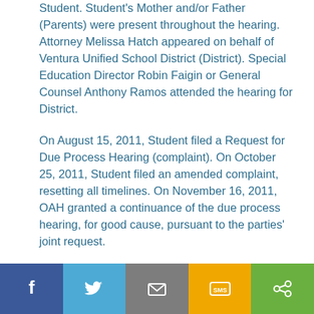Student. Student's Mother and/or Father (Parents) were present throughout the hearing. Attorney Melissa Hatch appeared on behalf of Ventura Unified School District (District). Special Education Director Robin Faigin or General Counsel Anthony Ramos attended the hearing for District.
On August 15, 2011, Student filed a Request for Due Process Hearing (complaint). On October 25, 2011, Student filed an amended complaint, resetting all timelines. On November 16, 2011, OAH granted a continuance of the due process hearing, for good cause, pursuant to the parties' joint request.